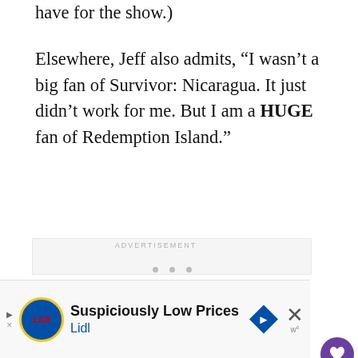have for the show.)
Elsewhere, Jeff also admits, “I wasn’t a big fan of Survivor: Nicaragua. It just didn’t work for me. But I am a HUGE fan of Redemption Island.”
[Figure (other): Advertisement placeholder area with ADVERTISEMENT label and dot pagination indicators]
[Figure (other): Lidl advertisement banner: Suspiciously Low Prices - Lidl, with blue diamond arrow sign]